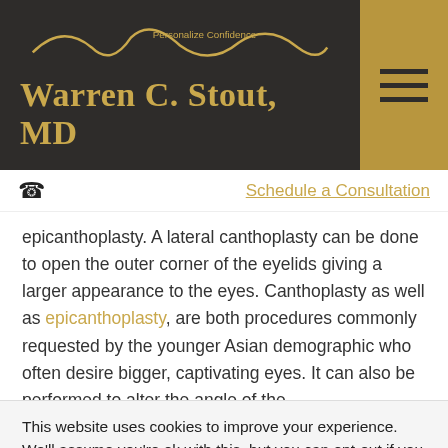[Figure (logo): Warren C. Stout MD logo with golden wave/mountain line graphic and text 'Personalize Confidence' on dark background]
Schedule a Consultation
epicanthoplasty. A lateral canthoplasty can be done to open the outer corner of the eyelids giving a larger appearance to the eyes. Canthoplasty as well as epicanthoplasty, are both procedures commonly requested by the younger Asian demographic who often desire bigger, captivating eyes. It can also be performed to alter the angle of the...
This website uses cookies to improve your experience. We'll assume you're ok with this, but you can opt-out if you wish.